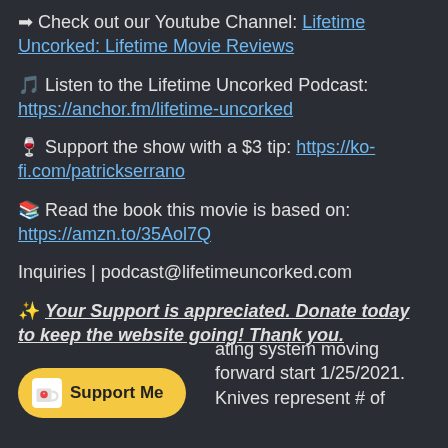➡ Check out our Youtube Channel: Lifetime Uncorked: Lifetime Movie Reviews
🎵 Listen to the Lifetime Uncorked Podcast: https://anchor.fm/lifetime-uncorked
🍷 Support the show with a $3 tip: https://ko-fi.com/patrickserrano
📚 Read the book this movie is based on: https://amzn.to/35Aol7Q
Inquiries | podcast@lifetimeuncorked.com
✨ Your Support is appreciated. Donate today to keep the website going! Thank you.
Support Me  ...ating system moving forward start 1/25/2021. Knives represent # of